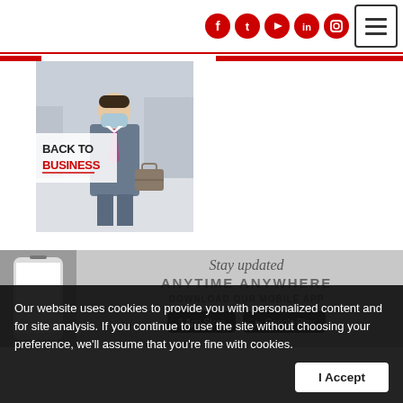[Figure (screenshot): Top navigation bar with social media icons (Facebook, Twitter, YouTube, LinkedIn, Instagram) in red circles, and a hamburger menu button on the right.]
[Figure (photo): Back to Business promotional image showing a businessman in a suit wearing a face mask, carrying a briefcase, in a shopping mall setting. Red and black bold text reads BACK TO BUSINESS.]
[Figure (infographic): Stay updated promo banner with a phone image, text reading Stay updated, ANYTIME ANYWHERE, DOWNLOAD OUR MOBILE APP, with App Store and Google Play buttons.]
Our website uses cookies to provide you with personalized content and for site analysis. If you continue to use the site without choosing your preference, we'll assume that you're fine with cookies.